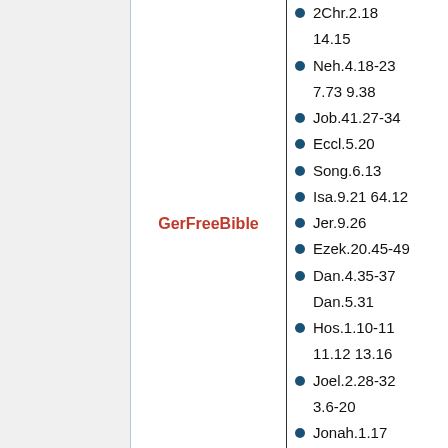GerFreeBible
2Chr.2.18 14.15
Neh.4.18-23 7.73 9.38
Job.41.27-34
Eccl.5.20
Song.6.13
Isa.9.21 64.12
Jer.9.26
Ezek.20.45-49
Dan.4.35-37 Dan.5.31
Hos.1.10-11 11.12 13.16
Joel.2.28-32 3.6-20
Jonah.1.17
Mic.5.15
Nah.1.15
Displa in GS